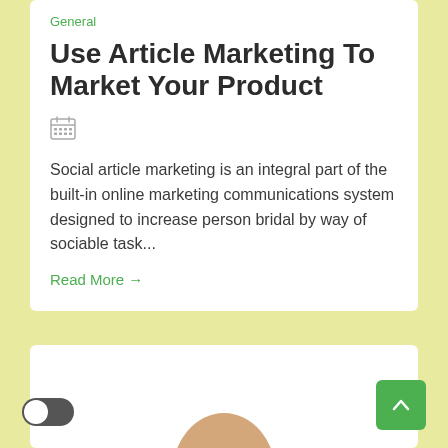General
Use Article Marketing To Market Your Product
[Figure (other): Calendar icon]
Social article marketing is an integral part of the built-in online marketing communications system designed to increase person bridal by way of sociable task...
Read More →
[Figure (photo): Partial view of a person's head/face at bottom of page, with a toggle switch on the left and a green back-to-top button on the right]